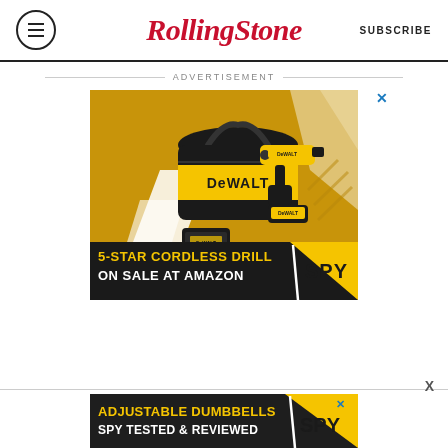Rolling Stone | SUBSCRIBE
ADVERTISEMENT
[Figure (photo): DeWalt cordless drill advertisement banner: yellow-and-black DeWalt tool bag, drill, charger, and battery on gold and white background. Bottom text reads '5-STAR CORDLESS DRILL ON SALE AT AMAZON / SPY']
[Figure (photo): SPY advertisement banner: dark background with yellow text reading 'ADJUSTABLE DUMBBELLS SPY TESTED & REVIEWED']